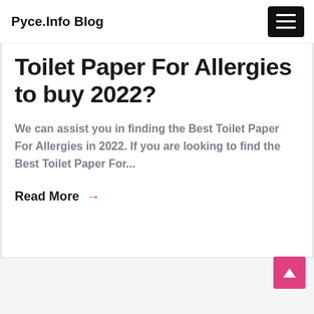Pyce.Info Blog
Toilet Paper For Allergies to buy 2022?
We can assist you in finding the Best Toilet Paper For Allergies in 2022. If you are looking to find the Best Toilet Paper For...
Read More →